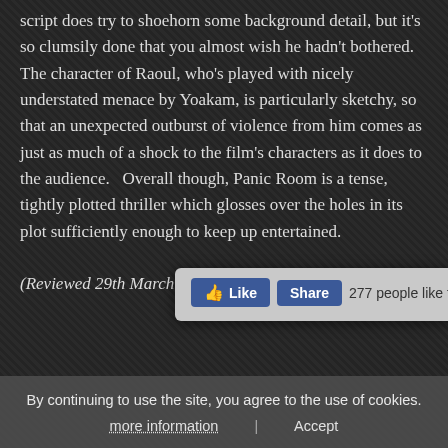script does try to shoehorn some background detail, but it's so clumsily done that you almost wish he hadn't bothered.   The character of Raoul, who's played with nicely understated menace by Yoakam, is particularly sketchy, so that an unexpected outburst of violence from him comes as just as much of a shock to the film's characters as it does to the audience.  Overall though, Panic Room is a tense, tightly plotted thriller which glosses over the holes in its plot sufficiently enough to keep up entertained.
(Reviewed 29th March 2017)
[Figure (screenshot): Facebook Like and Share popup overlay showing Like button, Share button, '277 people like this. Sign Up to se...' text, and a close (x) button.]
Share this:  on Twitter  on Facebook  on Google+
By continuing to use the site, you agree to the use of cookies.
more information  |  Accept